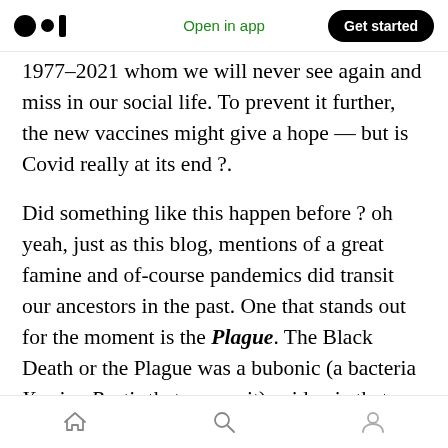Medium logo | Open in app | Get started
1977–2021 whom we will never see again and miss in our social life. To prevent it further, the new vaccines might give a hope — but is Covid really at its end ?.
Did something like this happen before ? oh yeah, just as this blog, mentions of a great famine and of-course pandemics did transit our ancestors in the past. One that stands out for the moment is the Plague. The Black Death or the Plague was a bubonic (a bacteria Yersina Pestis that causes it) epidemic that wiped out almost 20% of World's population between 1346–1353. The origins of
Home | Search | Profile